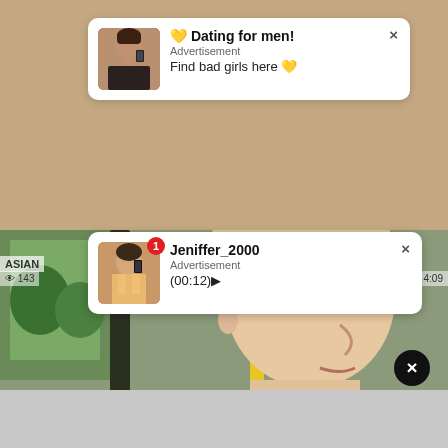[Figure (screenshot): Ad notification card 1: Woman selfie thumbnail, bold text 'Dating for men!', 'Advertisement', 'Find bad girls here', close X button]
[Figure (screenshot): Video player background showing partial view - beige/tan background with 'ASIAN' label and view count 143, duration 4:09]
[Figure (screenshot): Ad notification card 2: Woman selfie thumbnail with red badge '1', bold text 'Jeniffer_2000', 'Advertisement', '(00:12)', close X button]
[Figure (photo): Video background: close-up of a man in white suit with cravat/necktie on a bus, side profile, blonde hair, bus has yellow poles]
[Figure (screenshot): Black circular close (X) button overlaid on video]